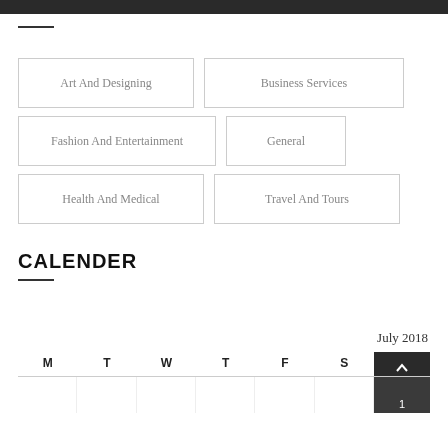Art And Designing
Business Services
Fashion And Entertainment
General
Health And Medical
Travel And Tours
CALENDER
[Figure (other): July 2018 calendar widget showing month header 'July 2018', day headers M T W T F S (with S column in dark background with up arrow), and one partial week row with day 1 visible in dark column]